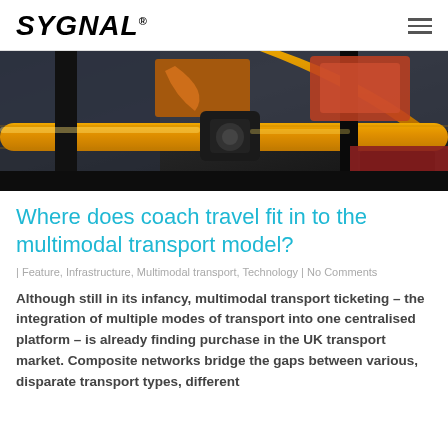SYGNAL
[Figure (photo): Close-up photo of yellow handrails and equipment on a bus or coach, with blurred background showing urban transport environment]
Where does coach travel fit in to the multimodal transport model?
| Feature, Infrastructure, Multimodal transport, Technology | No Comments
Although still in its infancy, multimodal transport ticketing – the integration of multiple modes of transport into one centralised platform – is already finding purchase in the UK transport market. Composite networks bridge the gaps between various, disparate transport types, different